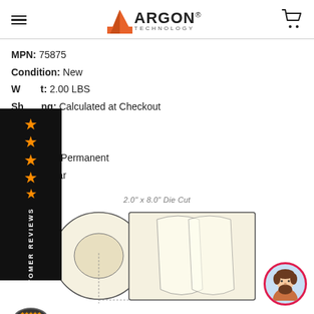Argon Technology
MPN: 75875
Condition: New
Weight: 2.00 LBS
Shipping: Calculated at Checkout
Color: Clear
Size: 2" x 8"
Adhesive: Permanent
Color: Clear
[Figure (illustration): Side-view customer reviews sidebar with stars and badge, overlaid on the left side of the page]
[Figure (illustration): Product diagram showing a roll of clear label tape, labeled 2.0 x 8.0 Die Cut]